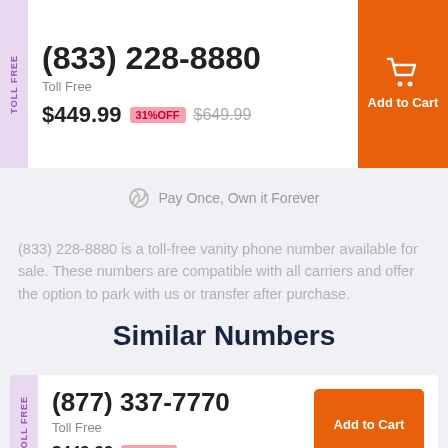(833) 228-8880
Toll Free
$449.99  31%OFF  $649.99
Add to Cart
Pay Once, Own it Forever
(833) 228-8880 is a toll-free vanity phone number available for sale. These numbers are compatible with all carriers and offer the option to park with us or transfer after purchase.
Similar Numbers
(877) 337-7770
Toll Free
$449.99  31%OFF  $649.99
Add to Cart